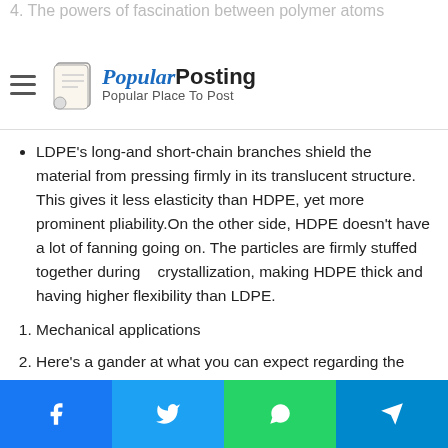4. The powers of fascination between polymer atoms
[Figure (logo): PopularPosting logo with hamburger menu icon, scroll icon, and text 'PopularPosting - Popular Place To Post']
LDPE's long-and short-chain branches shield the material from pressing firmly in its translucent structure. This gives it less elasticity than HDPE, yet more prominent pliability.On the other side, HDPE doesn't have a lot of fanning going on. The particles are firmly stuffed together during   crystallization, making HDPE thick and having higher flexibility than LDPE.
Mechanical applications
Here's a gander at what you can expect regarding the presentation of LDPE and HDPE in various applications.